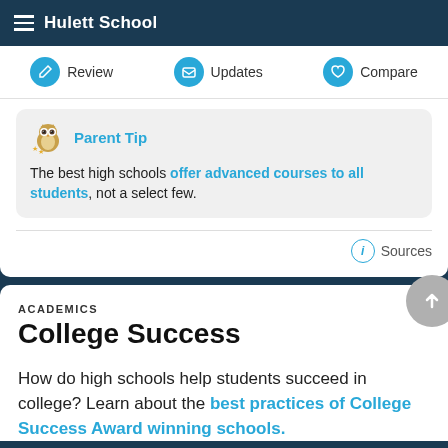Hulett School
Review | Updates | Compare
Parent Tip
The best high schools offer advanced courses to all students, not a select few.
Sources
ACADEMICS
College Success
How do high schools help students succeed in college? Learn about the best practices of College Success Award winning schools.